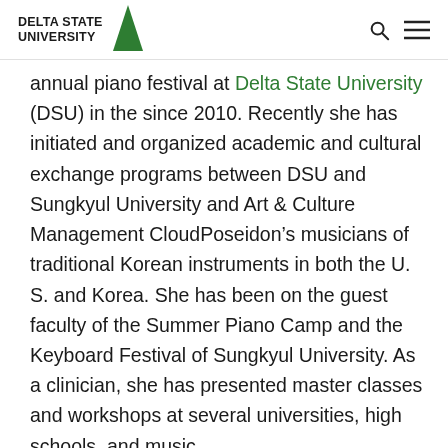DELTA STATE UNIVERSITY
annual piano festival at Delta State University (DSU) in the since 2010. Recently she has initiated and organized academic and cultural exchange programs between DSU and Sungkyul University and Art & Culture Management CloudPoseidon’s musicians of traditional Korean instruments in both the U. S. and Korea. She has been on the guest faculty of the Summer Piano Camp and the Keyboard Festival of Sungkyul University. As a clinician, she has presented master classes and workshops at several universities, high schools, and music